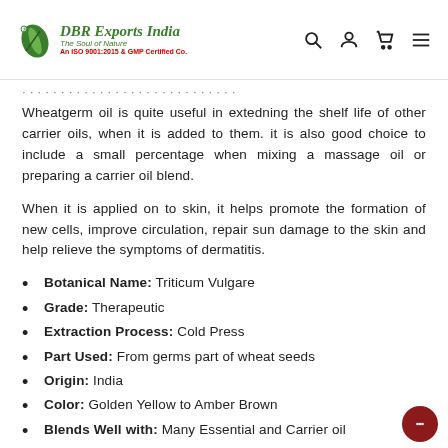DBR Exports India – The Soul of Nature – An ISO 9001:2015 & GMP Certified Co.
Wheatgerm oil is quite useful in extedning the shelf life of other carrier oils, when it is added to them. it is also good choice to include a small percentage when mixing a massage oil or preparing a carrier oil blend.
When it is applied on to skin, it helps promote the formation of new cells, improve circulation, repair sun damage to the skin and help relieve the symptoms of dermatitis.
Botanical Name: Triticum Vulgare
Grade: Therapeutic
Extraction Process: Cold Press
Part Used: From germs part of wheat seeds
Origin: India
Color: Golden Yellow to Amber Brown
Blends Well with: Many Essential and Carrier oil
Usage - Cosmetics, Toiletries, Hair care, Beauty and